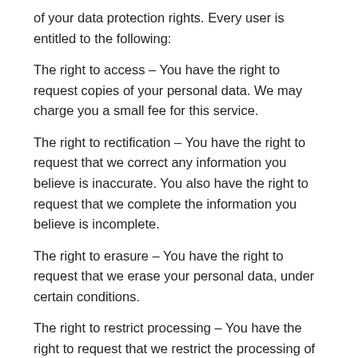of your data protection rights. Every user is entitled to the following:
The right to access – You have the right to request copies of your personal data. We may charge you a small fee for this service.
The right to rectification – You have the right to request that we correct any information you believe is inaccurate. You also have the right to request that we complete the information you believe is incomplete.
The right to erasure – You have the right to request that we erase your personal data, under certain conditions.
The right to restrict processing – You have the right to request that we restrict the processing of your personal data, under certain conditions.